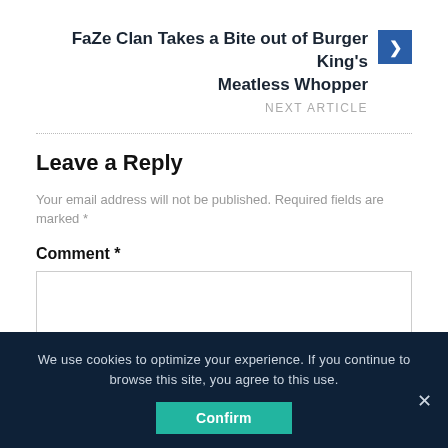FaZe Clan Takes a Bite out of Burger King's Meatless Whopper
NEXT ARTICLE
Leave a Reply
Your email address will not be published. Required fields are marked *
Comment *
We use cookies to optimize your experience. If you continue to browse this site, you agree to this use.
Confirm